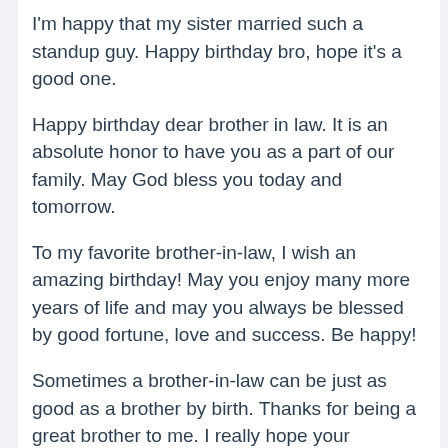I'm happy that my sister married such a standup guy. Happy birthday bro, hope it's a good one.
Happy birthday dear brother in law. It is an absolute honor to have you as a part of our family. May God bless you today and tomorrow.
To my favorite brother-in-law, I wish an amazing birthday! May you enjoy many more years of life and may you always be blessed by good fortune, love and success. Be happy!
Sometimes a brother-in-law can be just as good as a brother by birth. Thanks for being a great brother to me. I really hope your birthday